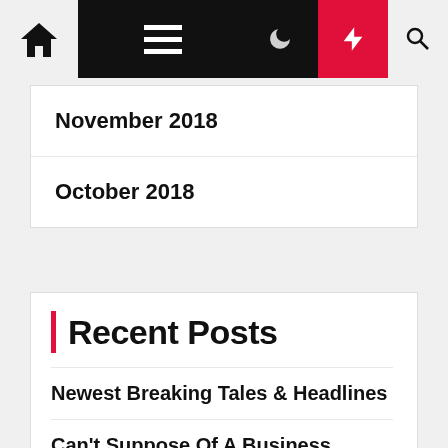Navigation bar with home, menu, moon, lightning, search icons
November 2018
October 2018
Recent Posts
Newest Breaking Tales & Headlines
Can't Suppose Of A Business Thought? Right here Are 3 Ways To Get Impressed
30 Small Enterprise Concepts That Use Abilities You Already Have
15 Enterprise Concepts You Can Begin